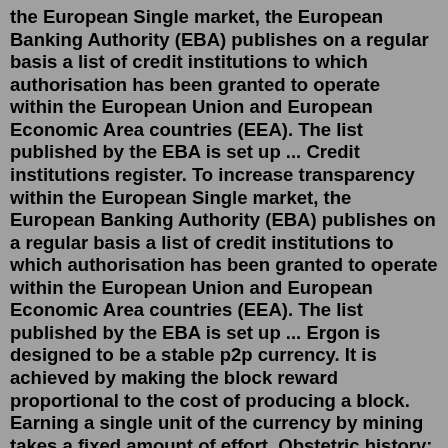the European Single market, the European Banking Authority (EBA) publishes on a regular basis a list of credit institutions to which authorisation has been granted to operate within the European Union and European Economic Area countries (EEA). The list published by the EBA is set up ... Credit institutions register. To increase transparency within the European Single market, the European Banking Authority (EBA) publishes on a regular basis a list of credit institutions to which authorisation has been granted to operate within the European Union and European Economic Area countries (EEA). The list published by the EBA is set up ... Ergon is designed to be a stable p2p currency. It is achieved by making the block reward proportional to the cost of producing a block. Earning a single unit of the currency by mining takes a fixed amount of effort. Obstetric history: G4, P3, A1 or gravida 4, para 3, abortus 1. When one or more of the numbers is 0, the preferred form is to write out the terms: gravida 2, para 0, abortus 2. G: